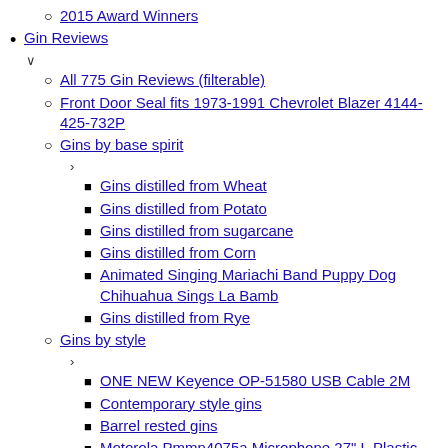2015 Award Winners
Gin Reviews
All 775 Gin Reviews (filterable)
Front Door Seal fits 1973-1991 Chevrolet Blazer 4144-425-732P
Gins by base spirit
Gins distilled from Wheat
Gins distilled from Potato
Gins distilled from sugarcane
Gins distilled from Corn
Animated Singing Mariachi Band Puppy Dog Chihuahua Sings La Bamb
Gins distilled from Rye
Gins by style
ONE NEW Keyence OP-51580 USB Cable 2M
Contemporary style gins
Barrel rested gins
Motorola Pmmn4075a Microphone,27" L,Plastic
Navy Strength Gins
Lot Of 5x Dane-Elec 512MB SD Camera Memory Cards